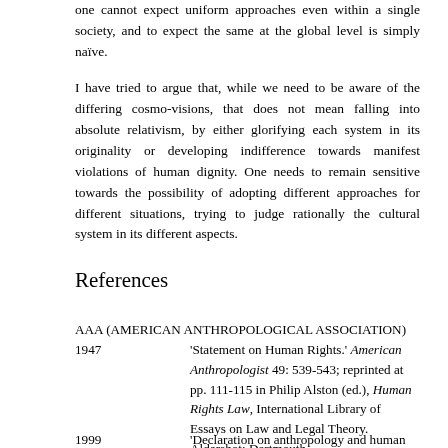one cannot expect uniform approaches even within a single society, and to expect the same at the global level is simply naïve.
I have tried to argue that, while we need to be aware of the differing cosmo-visions, that does not mean falling into absolute relativism, by either glorifying each system in its originality or developing indifference towards manifest violations of human dignity. One needs to remain sensitive towards the possibility of adopting different approaches for different situations, trying to judge rationally the cultural system in its different aspects.
References
AAA (AMERICAN ANTHROPOLOGICAL ASSOCIATION)
1947 'Statement on Human Rights.' American Anthropologist 49: 539-543; reprinted at pp. 111-115 in Philip Alston (ed.), Human Rights Law, International Library of Essays on Law and Legal Theory. Aldershot: Dartmouth.
1999 'Declaration on anthropology and human rights.' Available on